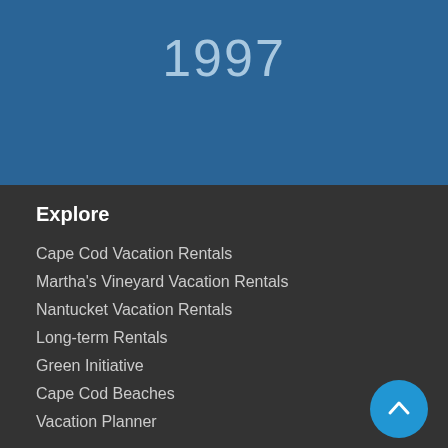1997
Explore
Cape Cod Vacation Rentals
Martha's Vineyard Vacation Rentals
Nantucket Vacation Rentals
Long-term Rentals
Green Initiative
Cape Cod Beaches
Vacation Planner
Homeowners
Listing Benefits & Cost